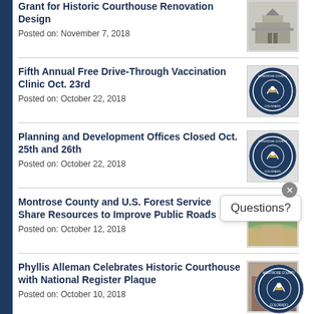Grant for Historic Courthouse Renovation Design
Posted on: November 7, 2018
Fifth Annual Free Drive-Through Vaccination Clinic Oct. 23rd
Posted on: October 22, 2018
Planning and Development Offices Closed Oct. 25th and 26th
Posted on: October 22, 2018
Montrose County and U.S. Forest Service Share Resources to Improve Public Roads
Posted on: October 12, 2018
Phyllis Alleman Celebrates Historic Courthouse with National Register Plaque
Posted on: October 10, 2018
Commissioners Seek Input on Barking Dog